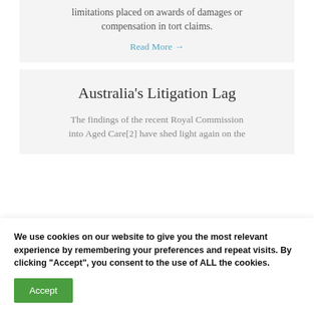limitations placed on awards of damages or compensation in tort claims.
Read More →
Australia's Litigation Lag
The findings of the recent Royal Commission into Aged Care[2] have shed light again on the
We use cookies on our website to give you the most relevant experience by remembering your preferences and repeat visits. By clicking "Accept", you consent to the use of ALL the cookies.
Accept